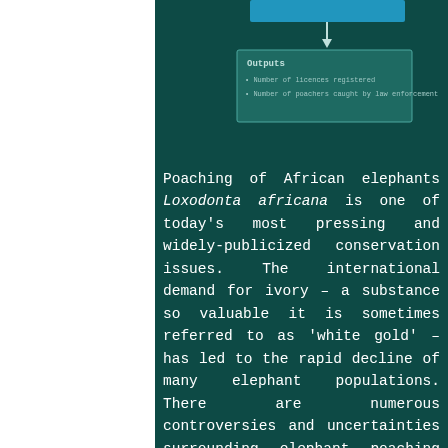[Figure (flowchart): Partial flowchart showing an arrow pointing down to an 'Outputs' box containing two bullet items: 'Number of licences registered' and 'Number of poachers caught by law enforcement']
Poaching of African elephants Loxodonta africana is one of today's most pressing and widely-publicized conservation issues. The international demand for ivory – a substance so valuable it is sometimes referred to as 'white gold' – has led to the rapid decline of many elephant populations. There are numerous controversies and uncertainties surrounding elephant poaching and the ivory trade, and debates on how to mitigate the